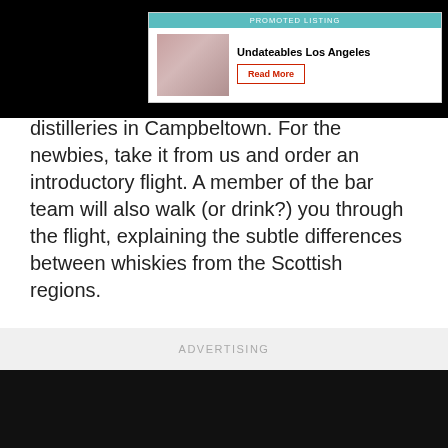[Figure (other): Promoted listing banner ad for 'Undateables Los Angeles' with a Read More button, shown at the top of the page over a dark navigation bar.]
distilleries in Campbeltown. For the newbies, take it from us and order an introductory flight. A member of the bar team will also walk (or drink?) you through the flight, explaining the subtle differences between whiskies from the Scottish regions.
Read more
ADVERTISING